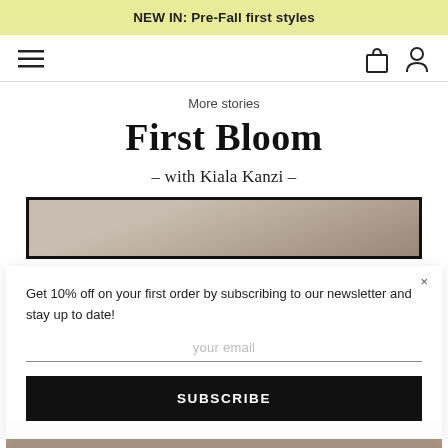NEW IN: Pre-Fall first styles
[Figure (other): Navigation bar with hamburger menu icon on left and bag/profile icons on right]
More stories
First Bloom
– with Kiala Kanzi –
[Figure (photo): Partial photo of a person behind newsletter subscription popup overlay]
Get 10% off on your first order by subscribing to our newsletter and stay up to date!
your email
SUBSCRIBE